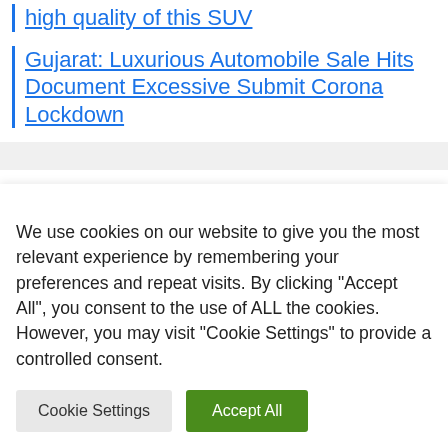high quality of this SUV
Gujarat: Luxurious Automobile Sale Hits Document Excessive Submit Corona Lockdown
1  2022 F1 Drivers  Betting  Button  Cars  Championship
We use cookies on our website to give you the most relevant experience by remembering your preferences and repeat visits. By clicking "Accept All", you consent to the use of ALL the cookies. However, you may visit "Cookie Settings" to provide a controlled consent.